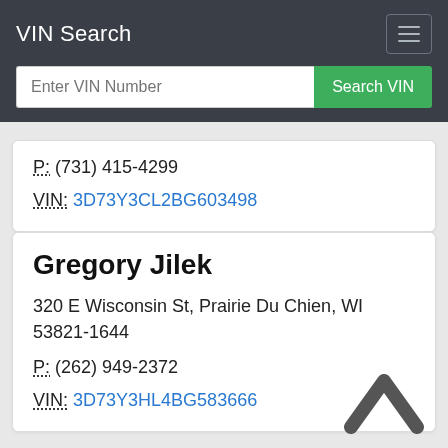VIN Search
P: (731) 415-4299
VIN: 3D73Y3CL2BG603498
Gregory Jilek
320 E Wisconsin St, Prairie Du Chien, WI 53821-1644
P: (262) 949-2372
VIN: 3D73Y3HL4BG583666